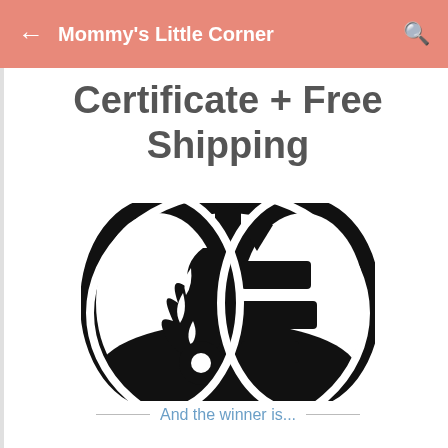Mommy's Little Corner
Certificate + Free Shipping
[Figure (illustration): Black and white illustration of a decorative pumpkin silhouette with unicorn design elements — a flame/mane shape on the left half and horizontal stripes resembling a horn or face on the right half, set within concentric pumpkin outlines.]
And the winner is...